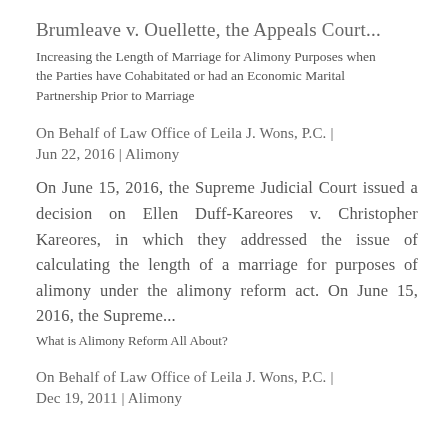Brumleave v. Ouellette, the Appeals Court...
Increasing the Length of Marriage for Alimony Purposes when the Parties have Cohabitated or had an Economic Marital Partnership Prior to Marriage
On Behalf of Law Office of Leila J. Wons, P.C. | Jun 22, 2016 | Alimony
On June 15, 2016, the Supreme Judicial Court issued a decision on Ellen Duff-Kareores v. Christopher Kareores, in which they addressed the issue of calculating the length of a marriage for purposes of alimony under the alimony reform act. On June 15, 2016, the Supreme...
What is Alimony Reform All About?
On Behalf of Law Office of Leila J. Wons, P.C. | Dec 19, 2011 | Alimony